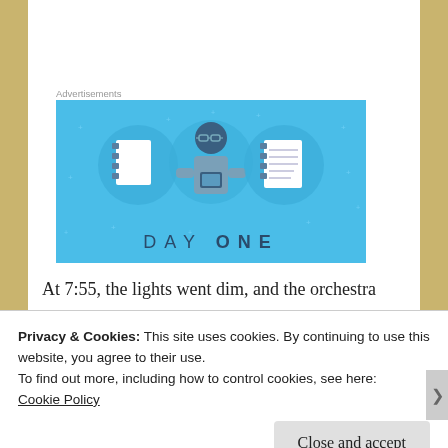Advertisements
[Figure (illustration): Day One app advertisement banner. Blue background with illustrated character holding a phone, flanked by a notebook and a lined journal inside circular frames. Text reads 'DAY ONE' at the bottom.]
At 7:55, the lights went dim, and the orchestra
Privacy & Cookies: This site uses cookies. By continuing to use this website, you agree to their use.
To find out more, including how to control cookies, see here:
Cookie Policy
Close and accept